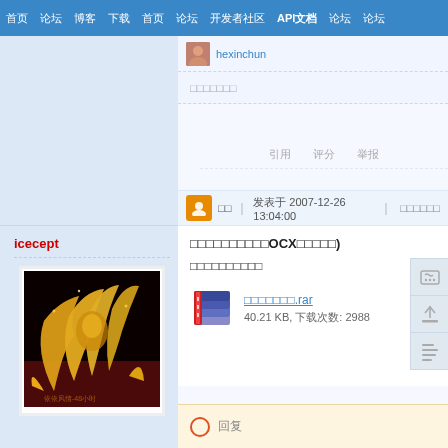首页 论坛 博客 下载 首页 论坛 开发者社区 API文档 论坛 论坛
hexinchun
□□□□□□□
引用 评分 举报
icecept
[Figure (illustration): Gold phoenix illustration on dark background with watermark text]
□□ ｜ 发表于 2007-12-26 13:04:00 ｜ □□□□□□
□□□□□□□□□□OCX□□□□□)
□□□□□□□□□□
□□□□□□□.rar
40.21 KB, 下载次数: 2988
回复